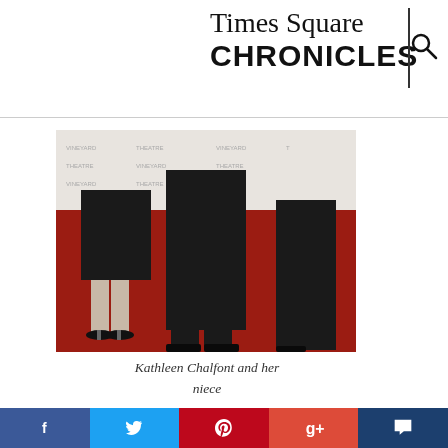Times Square Chronicles
[Figure (photo): Photo of Kathleen Chalfont and her niece on a red carpet, showing their legs and feet]
Kathleen Chalfont and her niece
[Figure (photo): Person wearing a dark t-shirt with BEEFCAKE text, standing in front of a Vineyard Theatre step-and-repeat banner]
Social sharing bar with Facebook, Twitter, Pinterest, Google+, and comment buttons